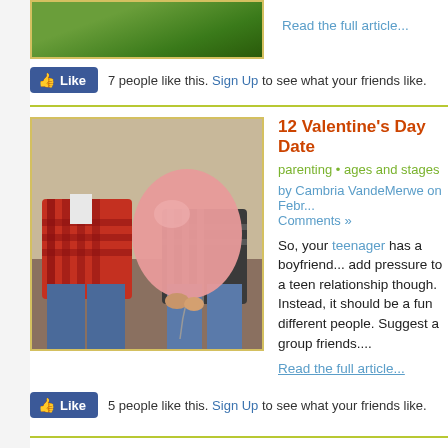[Figure (photo): Partial photo of person near grass/greenery, top of article]
Read the full article...
7 people like this. Sign Up to see what your friends like.
[Figure (photo): Two teenagers sitting together holding a pink balloon in front of their faces]
12 Valentine's Day Date
parenting • ages and stages
by Cambria VandeMerwe on Febr... Comments »
So, your teenager has a boyfriend... add pressure to a teen relationship though. Instead, it should be a fun different people. Suggest a group friends....
Read the full article...
5 people like this. Sign Up to see what your friends like.
« Older Entries